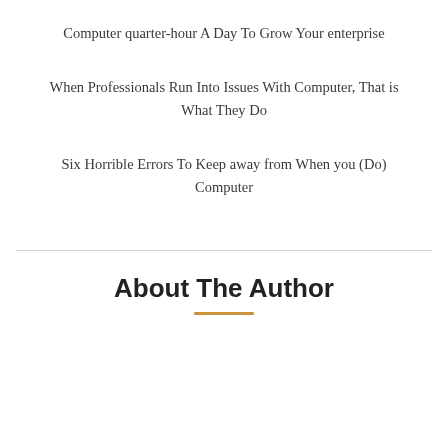Computer quarter-hour A Day To Grow Your enterprise
When Professionals Run Into Issues With Computer, That is What They Do
Six Horrible Errors To Keep away from When you (Do) Computer
About The Author